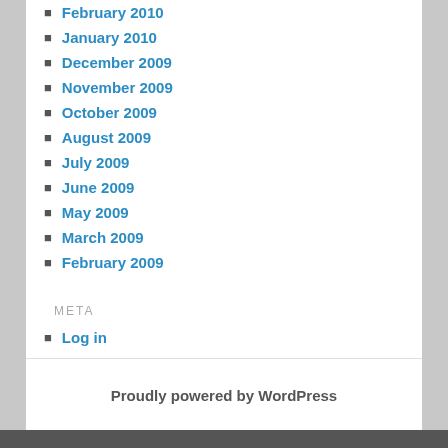February 2010
January 2010
December 2009
November 2009
October 2009
August 2009
July 2009
June 2009
May 2009
March 2009
February 2009
META
Log in
Proudly powered by WordPress